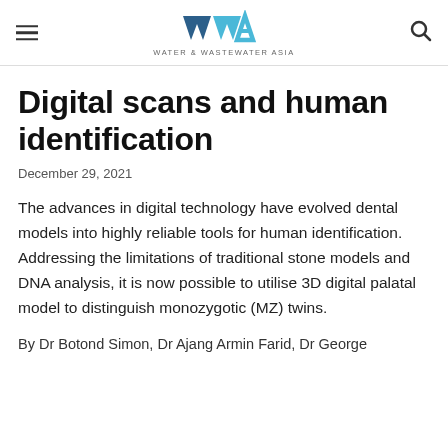WATER & WASTEWATER ASIA
Digital scans and human identification
December 29, 2021
The advances in digital technology have evolved dental models into highly reliable tools for human identification. Addressing the limitations of traditional stone models and DNA analysis, it is now possible to utilise 3D digital palatal model to distinguish monozygotic (MZ) twins.
By Dr Botond Simon, Dr Ajang Armin Farid, Dr George